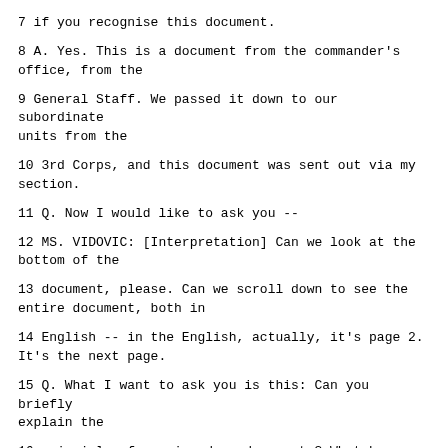7 if you recognise this document.
8 A. Yes. This is a document from the commander's office, from the
9 General Staff. We passed it down to our subordinate units from the
10 3rd Corps, and this document was sent out via my section.
11 Q. Now I would like to ask you --
12 MS. VIDOVIC: [Interpretation] Can we look at the bottom of the
13 document, please. Can we scroll down to see the entire document, both in
14 English -- in the English, actually, it's page 2. It's the next page.
15 Q. What I want to ask you is this: Can you briefly explain the
16 principle of passing down documents? What happens to a document? How
17 does a document reach you, and then what happens after that with it? How